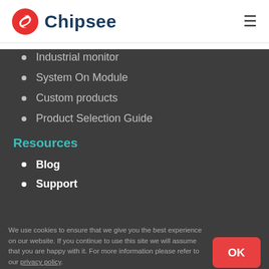[Figure (logo): Chipsee logo: red circle with white arrow/chip symbol, followed by bold dark blue text 'Chipsee']
Industrial monitor
System On Module
Custom products
Product Selection Guide
Resources
Blog
Support
We use cookies to ensure that we give you the best experience on our website. If you continue to use this site we will assume that you are happy with it. For more information please refer to our privacy policy.